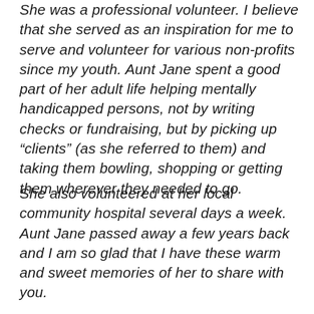She was a professional volunteer. I believe that she served as an inspiration for me to serve and volunteer for various non-profits since my youth. Aunt Jane spent a good part of her adult life helping mentally handicapped persons, not by writing checks or fundraising, but by picking up “clients” (as she referred to them) and taking them bowling, shopping or getting them wherever they needed to go.
She also volunteered at her local community hospital several days a week. Aunt Jane passed away a few years back and I am so glad that I have these warm and sweet memories of her to share with you.